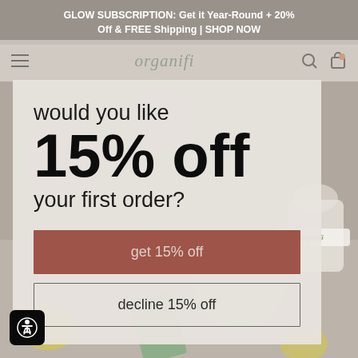GLOW SUBSCRIPTION: Get it Year-Round + 20% Off & FREE Shipping | SHOP NOW
[Figure (screenshot): Organifi website navigation bar with hamburger menu, organifi logo, search and cart icons]
would you like 15% off your first order?
get 15% off
decline 15% off
[Figure (photo): Background photo showing organifi products on a table with lemons and pink smoothie]